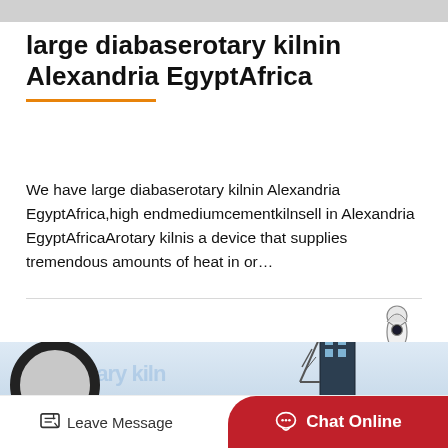large diabaserotary kilnin Alexandria EgyptAfrica
We have large diabaserotary kilnin Alexandria EgyptAfrica,high endmediumcementkilnsell in Alexandria EgyptAfricaArotary kilnis a device that supplies tremendous amounts of heat in or…
[Figure (photo): Industrial rotary kiln machinery photo with a large circular kiln cross-section visible on the left and a tall industrial conveyor/tower structure on the right against a light blue sky background. A rocket icon is shown in the upper right corner.]
Leave Message  Chat Online